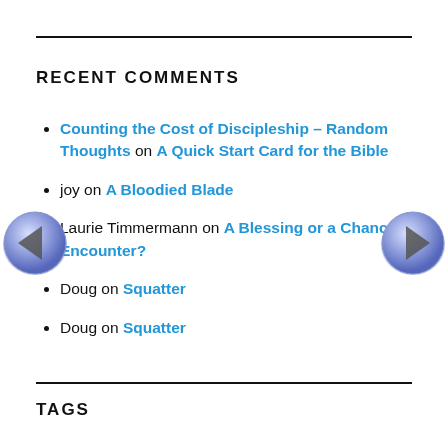RECENT COMMENTS
Counting the Cost of Discipleship – Random Thoughts on A Quick Start Card for the Bible
joy on A Bloodied Blade
Laurie Timmermann on A Blessing or a Chance Encounter?
Doug on Squatter
Doug on Squatter
TAGS